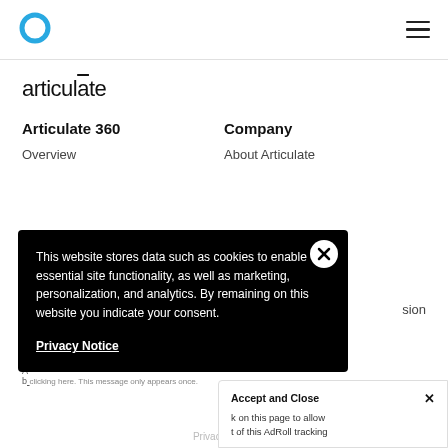[Figure (logo): Articulate logo: teal/cyan circle ring icon in top-left nav bar]
[Figure (illustration): Hamburger menu icon (three horizontal lines) in top-right nav bar]
articulate
Articulate 360
Company
Overview
About Articulate
This website stores data such as cookies to enable essential site functionality, as well as marketing, personalization, and analytics. By remaining on this website you indicate your consent.
Privacy Notice
Accept and Close ✕
k on this page to allow t of this AdRoll tracking